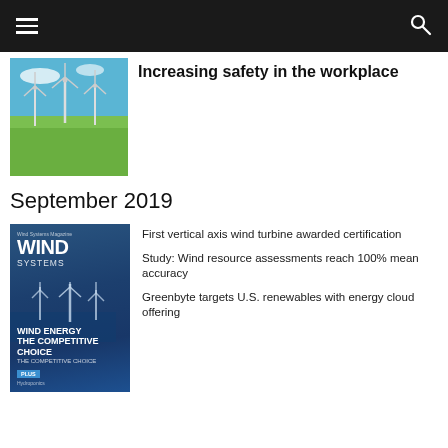Increasing safety in the workplace
September 2019
[Figure (photo): Wind Systems magazine cover for September 2019 showing wind turbines over water, with headline WIND ENERGY THE COMPETITIVE CHOICE]
First vertical axis wind turbine awarded certification
Study: Wind resource assessments reach 100% mean accuracy
Greenbyte targets U.S. renewables with energy cloud offering